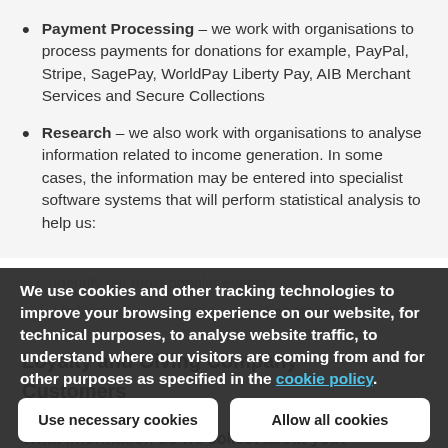Payment Processing – we work with organisations to process payments for donations for example, PayPal, Stripe, SagePay, WorldPay Liberty Pay, AIB Merchant Services and Secure Collections
Research – we also work with organisations to analyse information related to income generation. In some cases, the information may be entered into specialist software systems that will perform statistical analysis to help us:
Identify our most popular events
Understand our revenue generation streams
We use cookies and other tracking technologies to improve your browsing experience on our website, for technical purposes, to analyse website traffic, to understand where our visitors are coming from and for other purposes as specified in the cookie policy.
Loyalty and Giving Company Customers
Use necessary cookies
Allow all cookies
What information do we collect about you?